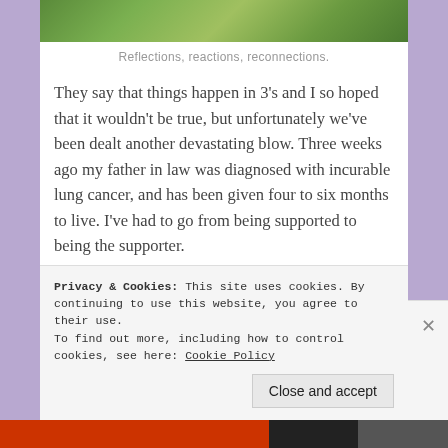[Figure (photo): Green blurred nature/foliage background image at top of page]
Reflections, reactions, reconnections.
They say that things happen in 3's and I so hoped that it wouldn't be true, but unfortunately we've been dealt another devastating blow. Three weeks ago my father in law was diagnosed with incurable lung cancer, and has been given four to six months to live. I've had to go from being supported to being the supporter.
I'm not one to question, so I've accepted that this is our journey in 2017, and our lives at the moment are filled with many juxtapositions. We live with
Privacy & Cookies: This site uses cookies. By continuing to use this website, you agree to their use.
To find out more, including how to control cookies, see here: Cookie Policy
Close and accept